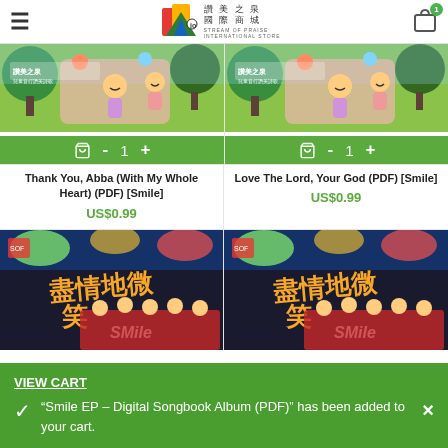讚美之泉 國際商城 STREAM OF PRAISE INTERNATIONAL STORE
[Figure (screenshot): Product image for Thank You Abba (With My Whole Heart) PDF Smile - animated children illustration with trees and characters]
Thank You, Abba (With My Whole Heart) (PDF) [Smile]
US$0.99
[Figure (screenshot): Product image for Love The Lord Your God PDF Smile - animated children illustration with trees and characters]
Love The Lord, Your God (PDF) [Smile]
US$0.99
[Figure (screenshot): Product image - 盡情地微笑 Smile EP album cover with children performers on stage]
[Figure (screenshot): Product image - 盡情地微笑 Smile EP album cover with children performers on stage (duplicate)]
VIEW CART
"Smile EP – Digital Songbook Album (PDF)" has been added to your cart.